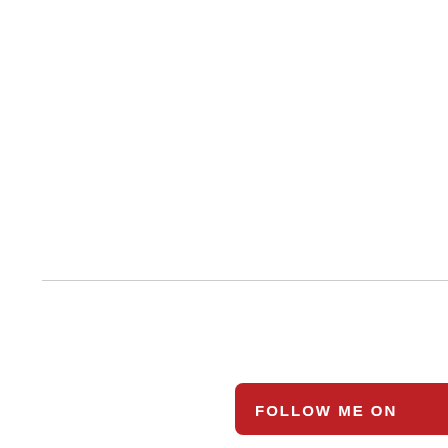[Figure (logo): Pinterest 'Follow Me On Pinterest' red button/badge with white text and Pinterest script logo]
[Figure (logo): Sew Sisters quilting blog logo inside an ornate decorative frame shape, partially cropped at right edge]